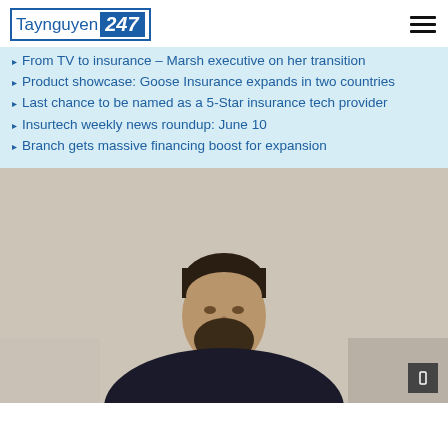Taynguyen 247
From TV to insurance – Marsh executive on her transition
Product showcase: Goose Insurance expands in two countries
Last chance to be named as a 5-Star insurance tech provider
Insurtech weekly news roundup: June 10
Branch gets massive financing boost for expansion
[Figure (photo): Portrait photo of a man with dark hair and beard wearing a dark zip-up jacket over a collared shirt, photographed against a light beige/tan background.]